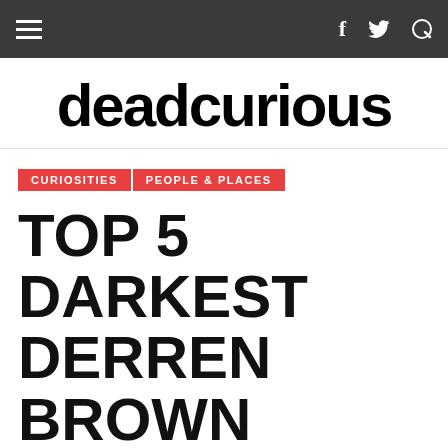deadcurious – navigation bar with hamburger menu, Facebook, Twitter, and search icons
deadcurious
CURIOSITIES | PEOPLE & PLACES
TOP 5 DARKEST DERREN BROWN MOMENTS